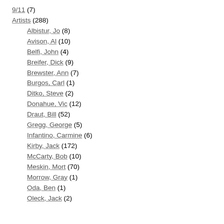9/11 (7)
Artists (288)
Albistur, Jo (8)
Avison, Al (10)
Belfi, John (4)
Breifer, Dick (9)
Brewster, Ann (7)
Burgos, Carl (1)
Ditko, Steve (2)
Donahue, Vic (12)
Draut, Bill (52)
Gregg, George (5)
Infantino, Carmine (6)
Kirby, Jack (172)
McCarty, Bob (10)
Meskin, Mort (70)
Morrow, Gray (1)
Oda, Ben (1)
Oleck, Jack (2)